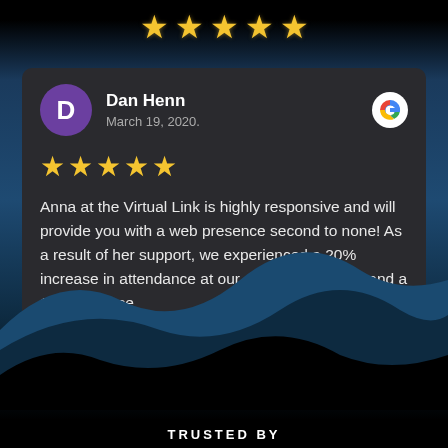[Figure (illustration): Five gold stars displayed at the top of a dark background, serving as a rating indicator]
[Figure (screenshot): Review card with avatar 'D' for Dan Henn, Google review logo, 5-star rating, and review text about Virtual Link]
Anna at the Virtual Link is highly responsive and will provide you with a web presence second to none! As a result of her support, we experienced a 20% increase in attendance at our annual fundraiser and a 12% increase
[Figure (illustration): Navigation dots (6 dots, first active/gold) and layered dark wave/mountain silhouette landscape]
TRUSTED BY